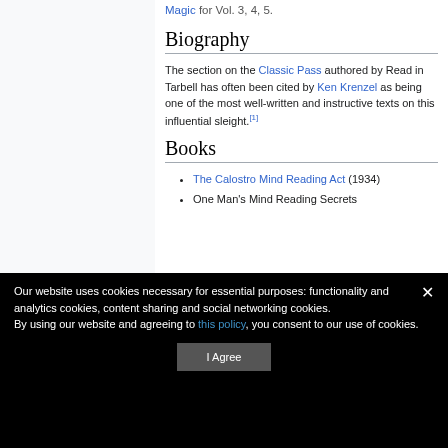Magic for Vol. 3, 4, 5.
Biography
The section on the Classic Pass authored by Read in Tarbell has often been cited by Ken Krenzel as being one of the most well-written and instructive texts on this influential sleight.[1]
Books
The Calostro Mind Reading Act (1934)
One Man's Mind Reading Secrets
Our website uses cookies necessary for essential purposes: functionality and analytics cookies, content sharing and social networking cookies.
By using our website and agreeing to this policy, you consent to our use of cookies.
I Agree